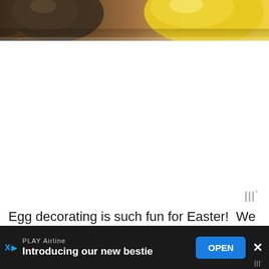[Figure (photo): Close-up photo of colorful Easter eggs on straw/nest material — dark greenish-brown egg on left, yellow egg on right, warm tones]
Egg decorating is such fun for Easter!  We usually decorate well ahead of the big day and hide the eggs around the house. He... s... wi...
[Figure (other): Advertisement bar: PLAY Airline ad — 'Introducing our new bestie' with OPEN button and close X, dark background]